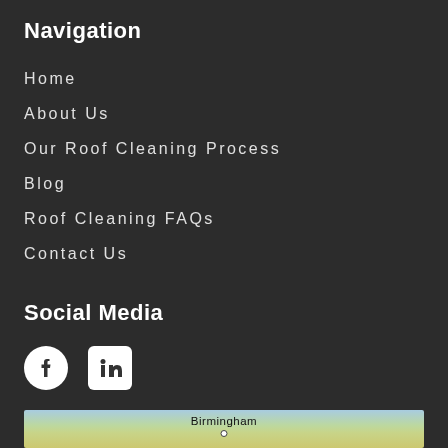Navigation
Home
About Us
Our Roof Cleaning Process
Blog
Roof Cleaning FAQs
Contact Us
Social Media
[Figure (logo): Facebook and LinkedIn social media icons]
[Figure (map): Google map showing Birmingham area]